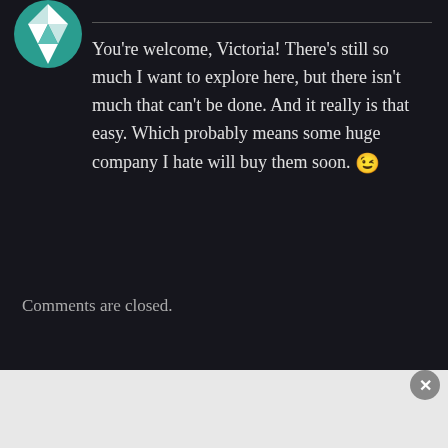[Figure (logo): DuckDuckGo style avatar/logo with teal and white geometric pattern, partially visible at top-left]
You're welcome, Victoria! There's still so much I want to explore here, but there isn't much that can't be done. And it really is that easy. Which probably means some huge company I hate will buy them soon. 😉
Comments are closed.
Advertisements
[Figure (screenshot): DuckDuckGo advertisement banner: orange left panel with text 'Search, browse, and email with more privacy. All in One Free App' and dark right panel with DuckDuckGo duck logo]